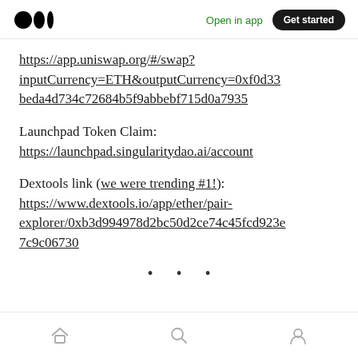Medium logo | Open in app | Get started
https://app.uniswap.org/#/swap?inputCurrency=ETH&outputCurrency=0xf0d33beda4d734c72684b5f9abbebf715d0a7935
Launchpad Token Claim: https://launchpad.singularitydao.ai/account
Dextools link (we were trending #1!): https://www.dextools.io/app/ether/pair-explorer/0xb3d994978d2bc50d2ce74c45fcd923e7c9c06730
· · · (three dots) | home | search | profile icons